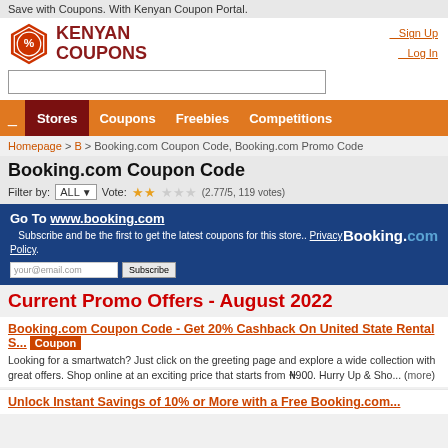Save with Coupons. With Kenyan Coupon Portal.
[Figure (logo): Kenyan Coupons hexagon logo with percent sign and text KENYAN COUPONS]
Sign Up  Log In
Search input field
Stores  Coupons  Freebies  Competitions
Homepage > B > Booking.com Coupon Code, Booking.com Promo Code
Booking.com Coupon Code
Filter by: ALL  Vote: (2.77/5, 119 votes)
Go To www.booking.com  Subscribe and be the first to get the latest coupons for this store.. Privacy Policy.
Current Promo Offers - August 2022
Booking.com Coupon Code - Get 20% Cashback On United State Rental S... Coupon
Looking for a smartwatch? Just click on the greeting page and explore a wide collection with great offers. Shop online at an exciting price that starts from ₦900. Hurry Up & Sho... (more)
Unlock Instant Savings of 10% or More with a Free Booking.com...